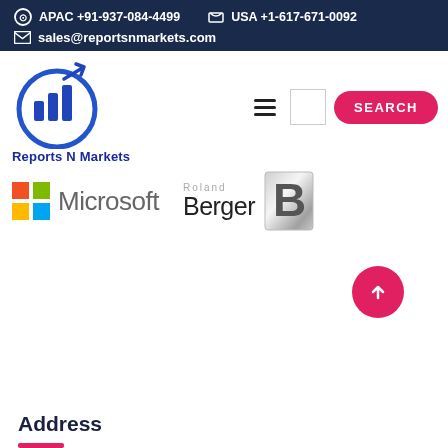APAC +91-937-084-4499   USA +1-617-671-0092   sales@reportsnmarkets.com
[Figure (logo): Reports N Markets logo with circular chart icon and brand name]
[Figure (logo): Microsoft logo with colored grid squares and Microsoft text]
[Figure (logo): Roland Berger logo with Berger text and silver B icon]
[Figure (other): Scroll-to-top button: red circle with upward arrow]
Address